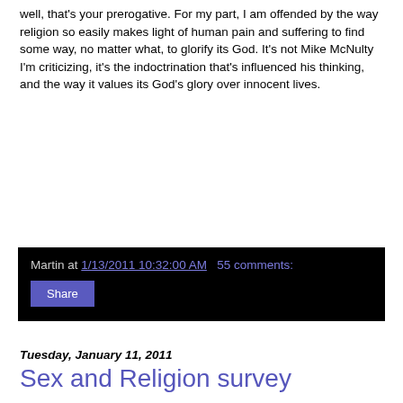well, that's your prerogative. For my part, I am offended by the way religion so easily makes light of human pain and suffering to find some way, no matter what, to glorify its God. It's not Mike McNulty I'm criticizing, it's the indoctrination that's influenced his thinking, and the way it values its God's glory over innocent lives.
Martin at 1/13/2011 10:32:00 AM   55 comments:
Share
Tuesday, January 11, 2011
Sex and Religion survey
OK, everybody, it's time to help out Dr. Darrel Ray by filling out a survey on a couple of my favorite subjects: religion and sex. He needs as many responses as we can get, so I'll be posting this all over - and let's try to make sure that this is one area where women aren't under-represented (actually, let's do that in all areas).